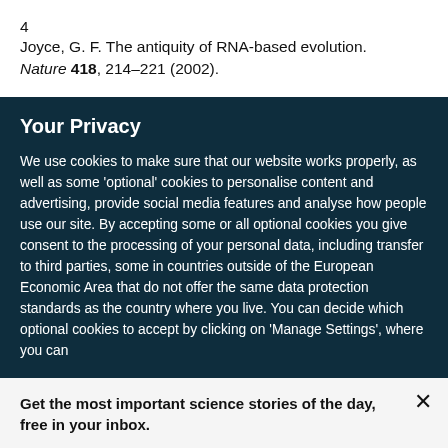4  Joyce, G. F. The antiquity of RNA-based evolution. Nature 418, 214–221 (2002).
Your Privacy
We use cookies to make sure that our website works properly, as well as some 'optional' cookies to personalise content and advertising, provide social media features and analyse how people use our site. By accepting some or all optional cookies you give consent to the processing of your personal data, including transfer to third parties, some in countries outside of the European Economic Area that do not offer the same data protection standards as the country where you live. You can decide which optional cookies to accept by clicking on 'Manage Settings', where you can
Get the most important science stories of the day, free in your inbox.
Sign up for Nature Briefing